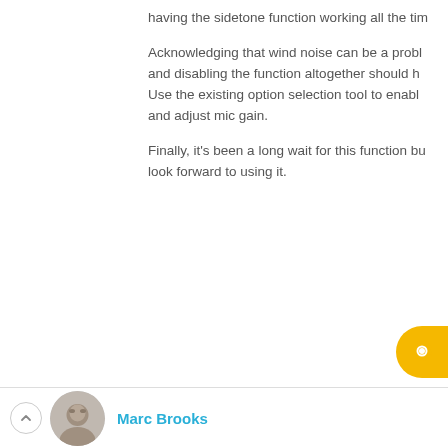having the sidetone function working all the tim
Acknowledging that wind noise can be a probl and disabling the function altogether should h Use the existing option selection tool to enabl and adjust mic gain.
Finally, it's been a long wait for this function bu look forward to using it.
Marc Brooks